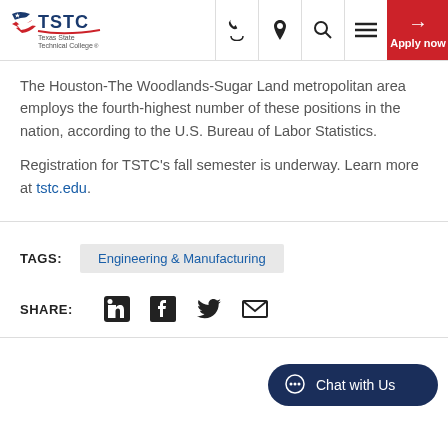TSTC - Texas State Technical College - Apply now
The Houston-The Woodlands-Sugar Land metropolitan area employs the fourth-highest number of these positions in the nation, according to the U.S. Bureau of Labor Statistics.
Registration for TSTC's fall semester is underway. Learn more at tstc.edu.
TAGS: Engineering & Manufacturing
SHARE: [LinkedIn] [Facebook] [Twitter] [Email]